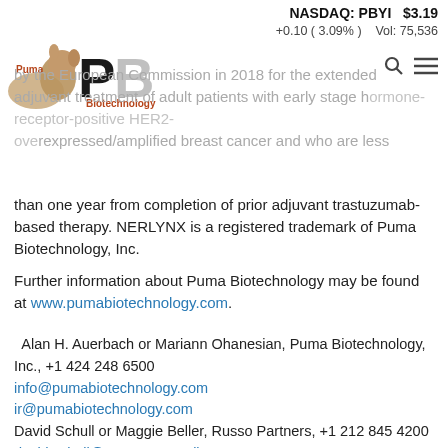NASDAQ: PBYI   $3.19
+0.10 ( 3.09% )   Vol: 75,536
[Figure (logo): Puma Biotechnology logo with puma cat image, large bold P and B letters, and 'Puma Biotechnology' text]
by the European Commission in 2018 for the extended adjuvant treatment of adult patients with early stage hormone-receptor-positive HER2-overexpressed/amplified breast cancer and who are less than one year from completion of prior adjuvant trastuzumab-based therapy. NERLYNX is a registered trademark of Puma Biotechnology, Inc.
Further information about Puma Biotechnology may be found at www.pumabiotechnology.com.
Alan H. Auerbach or Mariann Ohanesian, Puma Biotechnology, Inc., +1 424 248 6500
info@pumabiotechnology.com
ir@pumabiotechnology.com
David Schull or Maggie Beller, Russo Partners, +1 212 845 4200
david.schull@russopartnersllc.com
maggie.beller@russopartnersllc.com